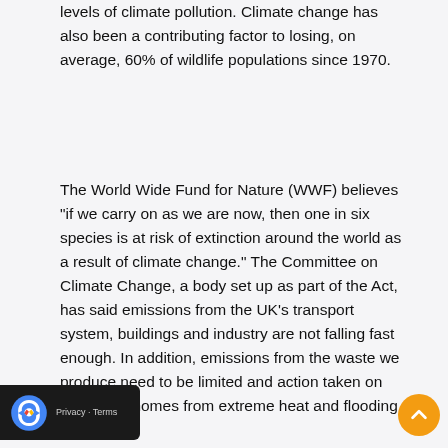levels of climate pollution. Climate change has also been a contributing factor to losing, on average, 60% of wildlife populations since 1970.
The World Wide Fund for Nature (WWF) believes "if we carry on as we are now, then one in six species is at risk of extinction around the world as a result of climate change." The Committee on Climate Change, a body set up as part of the Act, has said emissions from the UK's transport system, buildings and industry are not falling fast enough. In addition, emissions from the waste we produce need to be limited and action taken on protecting homes from extreme heat and flooding.